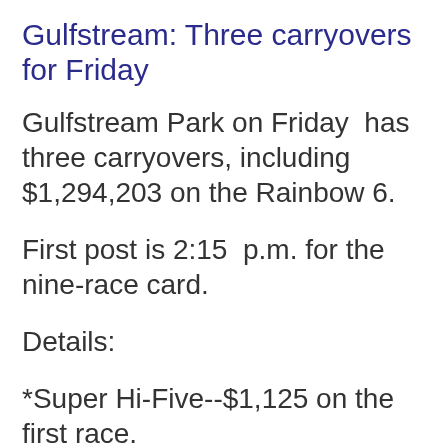Gulfstream: Three carryovers for Friday
Gulfstream Park on Friday  has three carryovers, including $1,294,203 on the Rainbow 6.
First post is 2:15  p.m. for the nine-race card.
Details:
*Super Hi-Five--$1,125 on the first race.
*Rainbow 6  $1,294,221 on races four